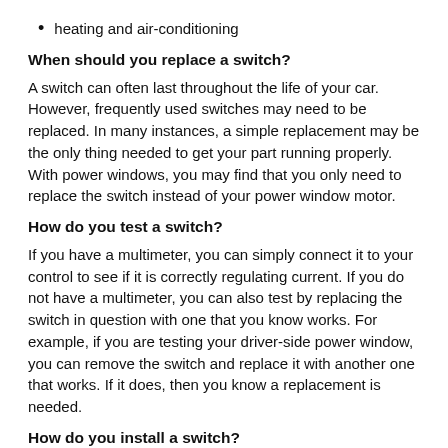heating and air-conditioning
When should you replace a switch?
A switch can often last throughout the life of your car. However, frequently used switches may need to be replaced. In many instances, a simple replacement may be the only thing needed to get your part running properly. With power windows, you may find that you only need to replace the switch instead of your power window motor.
How do you test a switch?
If you have a multimeter, you can simply connect it to your control to see if it is correctly regulating current. If you do not have a multimeter, you can also test by replacing the switch in question with one that you know works. For example, if you are testing your driver-side power window, you can remove the switch and replace it with another one that works. If it does, then you know a replacement is needed.
How do you install a switch?
The exact steps will depend on the type of switch you are replacing. For example, the more common replacements